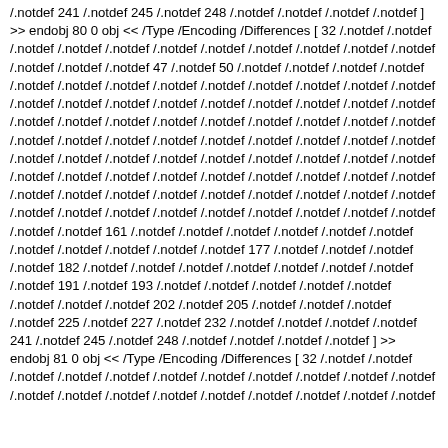/.notdef 241 /.notdef 245 /.notdef 248 /.notdef /.notdef /.notdef /.notdef ] >> endobj 80 0 obj << /Type /Encoding /Differences [ 32 /.notdef /.notdef /.notdef /.notdef /.notdef /.notdef /.notdef /.notdef /.notdef /.notdef /.notdef /.notdef /.notdef /.notdef 47 /.notdef 50 /.notdef /.notdef /.notdef /.notdef /.notdef /.notdef /.notdef /.notdef /.notdef /.notdef /.notdef /.notdef /.notdef /.notdef /.notdef /.notdef /.notdef /.notdef /.notdef /.notdef /.notdef /.notdef /.notdef /.notdef /.notdef /.notdef /.notdef /.notdef /.notdef /.notdef /.notdef /.notdef /.notdef /.notdef /.notdef /.notdef /.notdef /.notdef /.notdef /.notdef /.notdef /.notdef /.notdef /.notdef /.notdef /.notdef /.notdef /.notdef /.notdef /.notdef /.notdef /.notdef /.notdef /.notdef /.notdef /.notdef /.notdef /.notdef /.notdef /.notdef /.notdef /.notdef /.notdef /.notdef /.notdef /.notdef /.notdef /.notdef /.notdef /.notdef /.notdef /.notdef /.notdef /.notdef /.notdef /.notdef /.notdef /.notdef 161 /.notdef /.notdef /.notdef /.notdef /.notdef /.notdef /.notdef /.notdef /.notdef /.notdef /.notdef 177 /.notdef /.notdef /.notdef /.notdef 182 /.notdef /.notdef /.notdef /.notdef /.notdef /.notdef /.notdef /.notdef 191 /.notdef 193 /.notdef /.notdef /.notdef /.notdef /.notdef /.notdef /.notdef /.notdef 202 /.notdef 205 /.notdef /.notdef /.notdef /.notdef 225 /.notdef 227 /.notdef 232 /.notdef /.notdef /.notdef /.notdef 241 /.notdef 245 /.notdef 248 /.notdef /.notdef /.notdef /.notdef ] >> endobj 81 0 obj << /Type /Encoding /Differences [ 32 /.notdef /.notdef /.notdef /.notdef /.notdef /.notdef /.notdef /.notdef /.notdef /.notdef /.notdef /.notdef /.notdef /.notdef /.notdef /.notdef /.notdef /.notdef /.notdef /.notdef